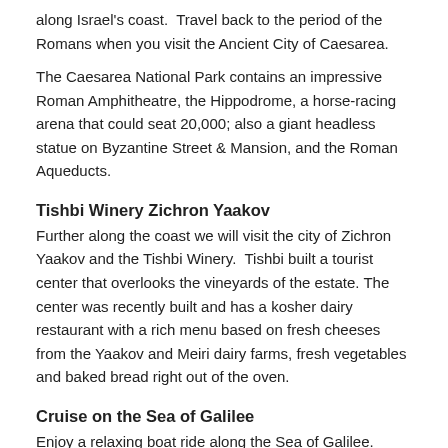along Israel's coast.  Travel back to the period of the Romans when you visit the Ancient City of Caesarea.
The Caesarea National Park contains an impressive Roman Amphitheatre, the Hippodrome, a horse-racing arena that could seat 20,000; also a giant headless statue on Byzantine Street & Mansion, and the Roman Aqueducts.
Tishbi Winery Zichron Yaakov
Further along the coast we will visit the city of Zichron Yaakov and the Tishbi Winery.  Tishbi built a tourist center that overlooks the vineyards of the estate. The center was recently built and has a kosher dairy restaurant with a rich menu based on fresh cheeses from the Yaakov and Meiri dairy farms, fresh vegetables and baked bread right out of the oven.
Cruise on the Sea of Galilee
Enjoy a relaxing boat ride along the Sea of Galilee. Learn all about the biblical and modern history that surrounds this important body of water, all while taking in the beautiful flora and